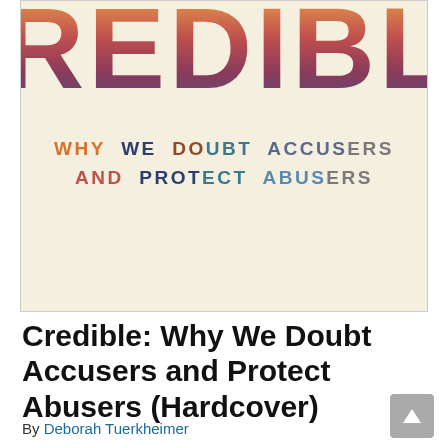[Figure (illustration): Book cover of 'Credible: Why We Doubt Accusers and Protect Abusers'. The word CREDIBLE appears in large gradient letters (orange to dark red/purple) at the top, on a cream/beige background. Below it the subtitle reads 'WHY WE DOUBT ACCUSERS AND PROTECT ABUSERS' in multicolored bold uppercase letters.]
Credible: Why We Doubt Accusers and Protect Abusers (Hardcover)
By Deborah Tuerkheimer